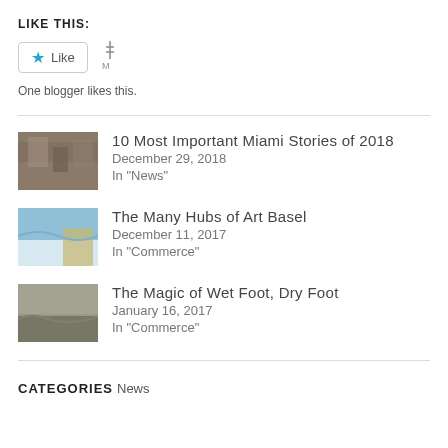LIKE THIS:
[Figure (other): Like button with star icon and blogger avatar icon]
One blogger likes this.
10 Most Important Miami Stories of 2018
December 29, 2018
In "News"
The Many Hubs of Art Basel
December 11, 2017
In "Commerce"
The Magic of Wet Foot, Dry Foot
January 16, 2017
In "Commerce"
CATEGORIES
News